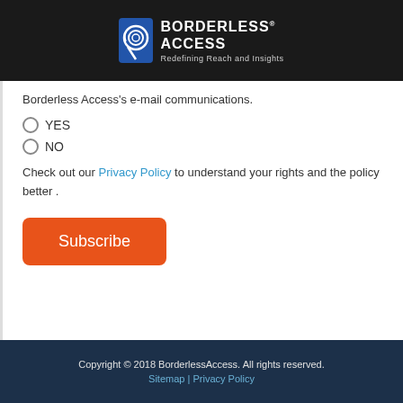BORDERLESS ACCESS - Redefining Reach and Insights
Borderless Access's e-mail communications.
YES
NO
Check out our Privacy Policy to understand your rights and the policy better .
Subscribe
Copyright © 2018 BorderlessAccess. All rights reserved. Sitemap | Privacy Policy